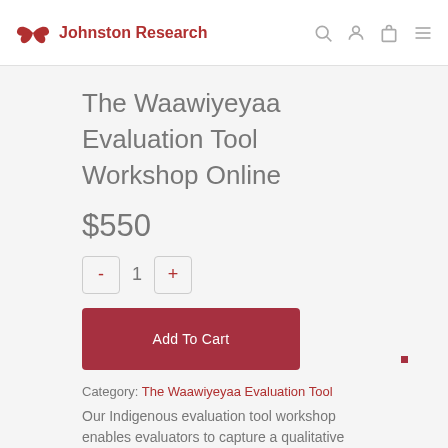Johnston Research
The Waawiyeyaa Evaluation Tool Workshop Online
$550
- 1 +
Add To Cart
Category: The Waawiyeyaa Evaluation Tool
Our Indigenous evaluation tool workshop enables evaluators to capture a qualitative